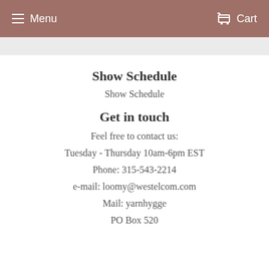Menu   Cart
Show Schedule
Show Schedule
Get in touch
Feel free to contact us:
Tuesday - Thursday 10am-6pm EST
Phone: 315-543-2214
e-mail: loomy@westelcom.com
Mail: yarnhygge
PO Box 520